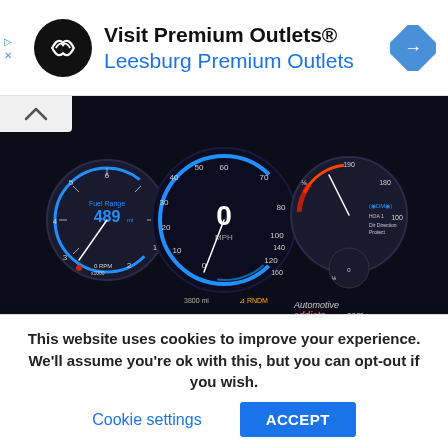[Figure (infographic): Advertisement banner for Visit Premium Outlets® - Leesburg Premium Outlets with circular logo and navigation arrow icon]
[Figure (photo): Interior dashboard photo of a Cadillac Escalade showing digital instrument cluster with speedometer, fuel gauge showing 489mi range, tachometer, and various digital displays, watermarked with automotiveaddicts.com]
Braking for my Escalade test vehicle was one part of the big SUV's performance that was unsettling, mostly
This website uses cookies to improve your experience. We'll assume you're ok with this, but you can opt-out if you wish.
Cookie settings
ACCEPT